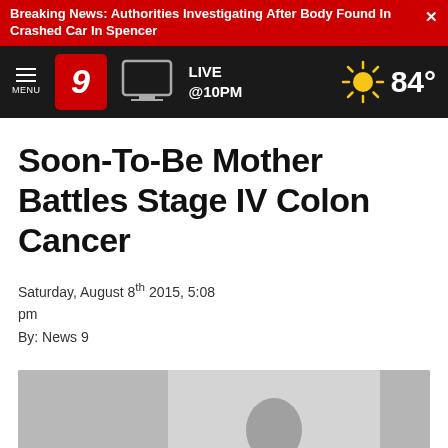Breaking News: Authorities Investigating After Body Found In Crashed Car In Spencer
[Figure (screenshot): News 9 navigation bar with hamburger menu, channel 9 logo, TV icon, LIVE @10PM text, and weather showing 84 degrees]
Soon-To-Be Mother Battles Stage IV Colon Cancer
Saturday, August 8th 2015, 5:08 pm
By: News 9
[Figure (screenshot): Video thumbnail showing a person in a medical setting with a play button overlay]